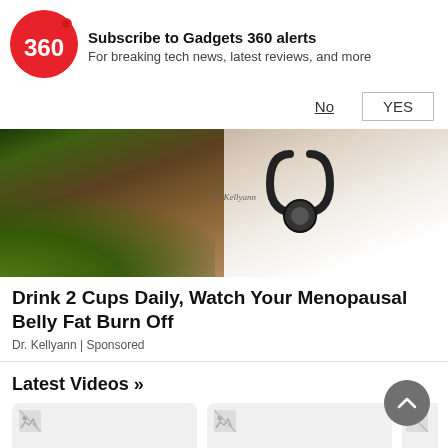[Figure (logo): Gadgets 360 logo — red circle with '360' text in white]
Subscribe to Gadgets 360 alerts
For breaking tech news, latest reviews, and more
No   YES
[Figure (photo): Advertisement image showing a person outdoors on left and a doctor in white coat with stethoscope on right]
Drink 2 Cups Daily, Watch Your Menopausal Belly Fat Burn Off
Dr. Kellyann | Sponsored
Latest Videos »
[Figure (photo): Video thumbnail placeholder (broken image)]
[Figure (photo): Video thumbnail placeholder (broken image)]
[Figure (photo): Partial video thumbnail placeholder (broken image)]